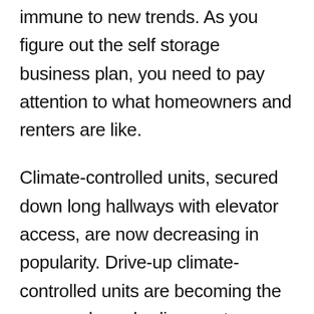But the longevity of the industry doesn't make it immune to new trends. As you figure out the self storage business plan, you need to pay attention to what homeowners and renters are like.
Climate-controlled units, secured down long hallways with elevator access, are now decreasing in popularity. Drive-up climate-controlled units are becoming the rage, as homebodies want easy access with minor strain.
Many businesses have transitioned to self-service, especially when it allows for social distancing. A self storage business is no different, as customers want